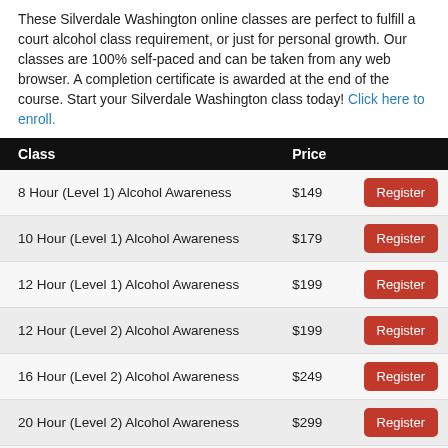These Silverdale Washington online classes are perfect to fulfill a court alcohol class requirement, or just for personal growth. Our classes are 100% self-paced and can be taken from any web browser. A completion certificate is awarded at the end of the course. Start your Silverdale Washington class today! Click here to enroll.
| Class | Price |  |
| --- | --- | --- |
| 8 Hour (Level 1) Alcohol Awareness | $149 | Register |
| 10 Hour (Level 1) Alcohol Awareness | $179 | Register |
| 12 Hour (Level 1) Alcohol Awareness | $199 | Register |
| 12 Hour (Level 2) Alcohol Awareness | $199 | Register |
| 16 Hour (Level 2) Alcohol Awareness | $249 | Register |
| 20 Hour (Level 2) Alcohol Awareness | $299 | Register |
| 21 Hour Alcohol Awareness | $309 | Register |